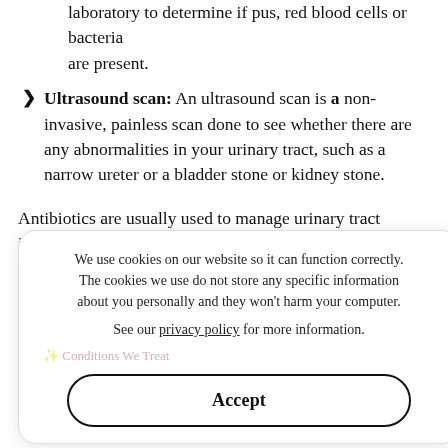laboratory to determine if pus, red blood cells or bacteria are present.
Ultrasound scan: An ultrasound scan is a non-invasive, painless scan done to see whether there are any abnormalities in your urinary tract, such as a narrow ureter or a bladder stone or kidney stone.
Antibiotics are usually used to manage urinary tract infections. Depending on the type of infection present antibiotic therapy may be given either by mouth, IV or both. Your doctor may also prescribe medications to relieve burning pain and urge to urinate. A referral to a Urologist (urinary tract specialist) may be needed.
We use cookies on our website so it can function correctly. The cookies we use do not store any specific information about you personally and they won't harm your computer.

See our privacy policy for more information.
Accept